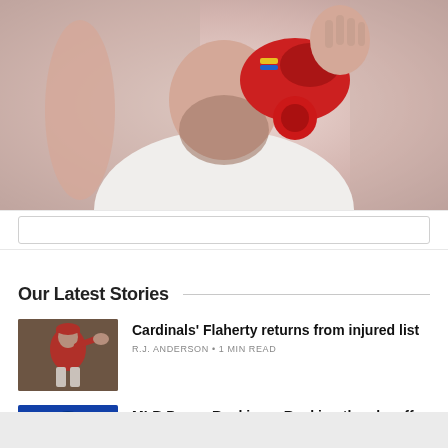[Figure (photo): Baseball player with red helmet close-up photo]
Our Latest Stories
[Figure (photo): Cardinals pitcher in red uniform throwing ball]
Cardinals' Flaherty returns from injured list
R.J. ANDERSON • 1 MIN READ
[Figure (photo): New York Mets player number 12 in blue uniform]
MLB Power Rankings: Ranking the playoff races
MATT SNYDER • 6 MIN READ
[Figure (photo): Yankees player close-up photo]
Four things Yankees need to snap out of slump